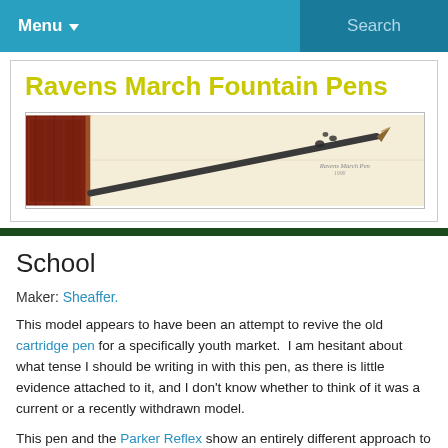Menu ▼   Search
Ravens March Fountain Pens
[Figure (photo): Banner photo showing a fountain pen resting on an open notebook/book, with a decorative red/brown cover on the left and script text visible on the right side of the open pages.]
School
Maker: Sheaffer.
This model appears to have been an attempt to revive the old cartridge pen for a specifically youth market.  I am hesitant about what tense I should be writing in with this pen, as there is little evidence attached to it, and I don't know whether to think of it was a current or a recently withdrawn model.
This pen and the Parker Reflex show an entirely different approach to the continuation of the brand, all the other things…